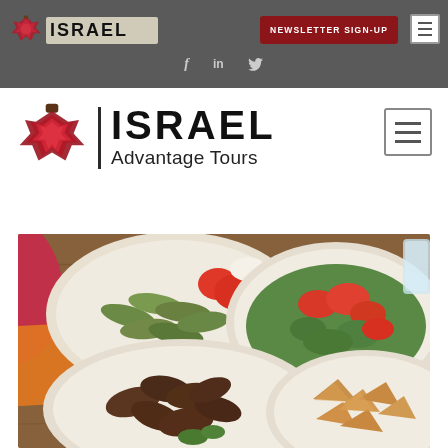ISRAEL | NEWSLETTER SIGN-UP
[Figure (logo): Israel Advantage Tours logo with pomegranate icon and ISRAEL text in large bold font with 'Advantage Tours' subtitle, shown twice (small in top bar, large in main header area). Social media icons (f, in, twitter bird) in the dark top navigation bar. Hamburger menu icons top right. Food photography showing Middle Eastern dishes: dolma (stuffed grape leaves), tabbouleh salad, kibbeh, samosas/pastries arranged in bowls on a wooden table.]